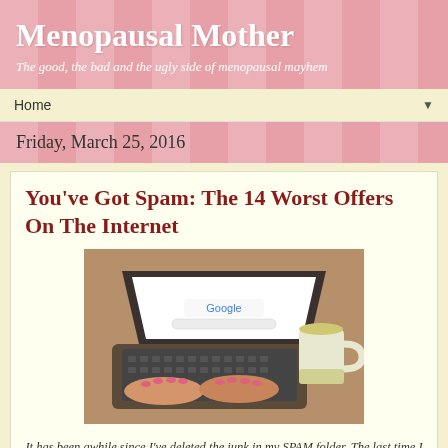Menopausal Mother
The good, the bad and the ugly side of menopausal mayhem
Home ▼
Friday, March 25, 2016
You've Got Spam: The 14 Worst Offers On The Internet
[Figure (photo): Woman's hands typing on a laptop keyboard, with a white mug in the background and a Google search page visible on screen.]
It has been awhile since I've deleted the junk in my SPAM folder. The last time I did it, I found all sorts if interesting